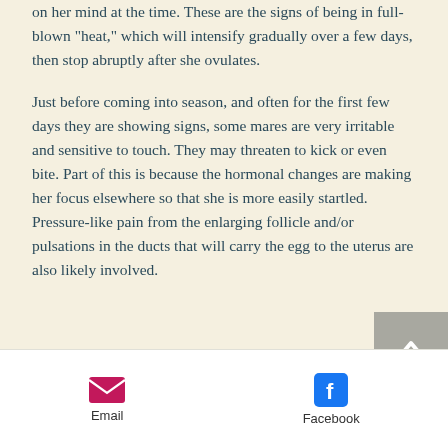on her mind at the time. These are the signs of being in full-blown "heat," which will intensify gradually over a few days, then stop abruptly after she ovulates.

Just before coming into season, and often for the first few days they are showing signs, some mares are very irritable and sensitive to touch. They may threaten to kick or even bite. Part of this is because the hormonal changes are making her focus elsewhere so that she is more easily startled. Pressure-like pain from the enlarging follicle and/or pulsations in the ducts that will carry the egg to the uterus are also likely involved.
[Figure (other): Scroll-to-top button: grey square with white upward chevron arrow]
Email  Facebook